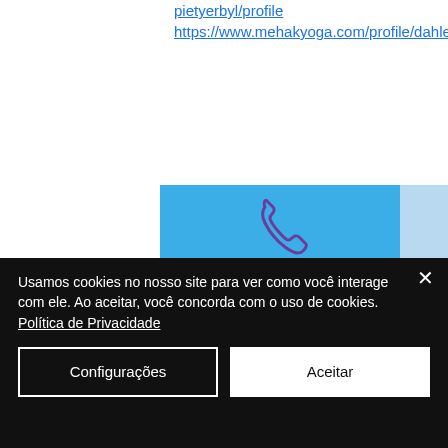pietyerbyl/profile https://www.mehakyoga.com/profile/dahlesauro5/profile
[Figure (infographic): Blue contact card for Santa Casa da Misericórdia de Tarouca with phone icon, organization name, address, telephone, email, and privacy notice text.]
Usamos cookies no nosso site para ver como você interage com ele. Ao aceitar, você concorda com o uso de cookies. Política de Privacidade
Configurações
Aceitar